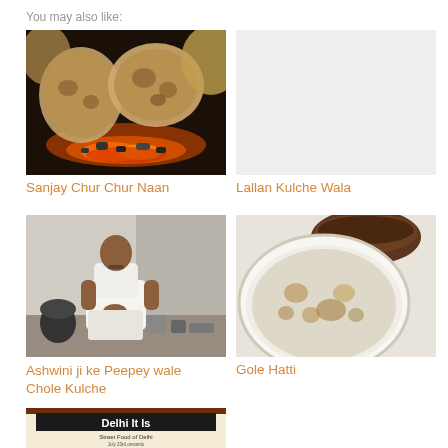You may also like:
[Figure (photo): Bread/naan being cooked on a tandoor with glowing red coals, dark background, flatbreads visible]
Sanjay Chur Chur Naan
Lallan Kulche Wala
[Figure (photo): Man in white clothes sitting cross-legged at street food stall with pots and containers]
[Figure (photo): Close-up of a kulcha flatbread on a white plate with a dark bowl of chole in the background]
Ashwini ji ke Peepey wale Chole Kulche
Gole Hatti
[Figure (photo): Partial view of a Delhi food event poster/flyer showing 'Delhi It Is', 'Street Food of Delhi', 'July 23rd onwards', with decorative border and text about tantalizing taste buds]